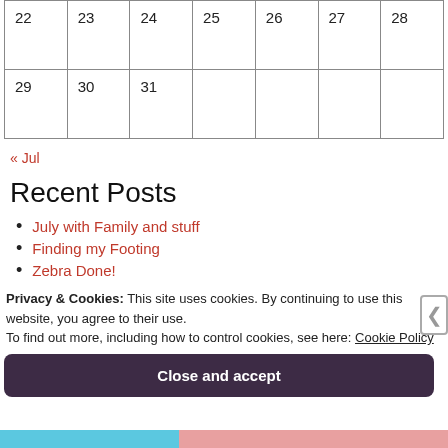| 22 | 23 | 24 | 25 | 26 | 27 | 28 |
| 29 | 30 | 31 |  |  |  |  |
« Jul
Recent Posts
July with Family and stuff
Finding my Footing
Zebra Done!
Privacy & Cookies: This site uses cookies. By continuing to use this website, you agree to their use. To find out more, including how to control cookies, see here: Cookie Policy
Close and accept